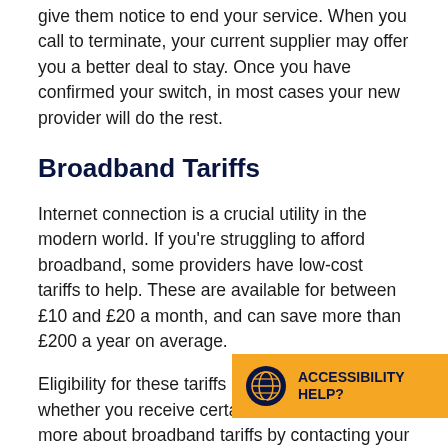give them notice to end your service. When you call to terminate, your current supplier may offer you a better deal to stay. Once you have confirmed your switch, in most cases your new provider will do the rest.
Broadband Tariffs
Internet connection is a crucial utility in the modern world. If you're struggling to afford broadband, some providers have low-cost tariffs to help. These are available for between £10 and £20 a month, and can save more than £200 a year on average.
Eligibility for these tariffs are often based on whether you receive certain benefits. Find out more about broadband tariffs by contacting your provider or by visiting this addr…
[Figure (other): Accessibility help badge with globe icon on yellow/orange background, bottom right corner]